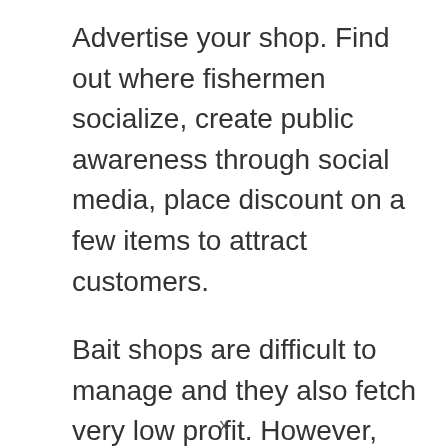Advertise your shop. Find out where fishermen socialize, create public awareness through social media, place discount on a few items to attract customers.
Bait shops are difficult to manage and they also fetch very low profit. However, you can get additional profits by trading other items such as boats, nets and fishing rod and the prizes placed on your baits should be at least twice the original
x